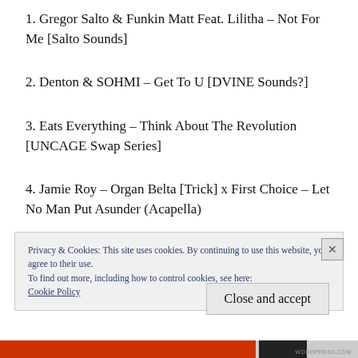1. Gregor Salto & Funkin Matt Feat. Lilitha – Not For Me [Salto Sounds]
2. Denton & SOHMI – Get To U [DVINE Sounds?]
3. Eats Everything – Think About The Revolution [UNCAGE Swap Series]
4. Jamie Roy – Organ Belta [Trick] x First Choice – Let No Man Put Asunder (Acapella)
Privacy & Cookies: This site uses cookies. By continuing to use this website, you agree to their use.
To find out more, including how to control cookies, see here: Cookie Policy